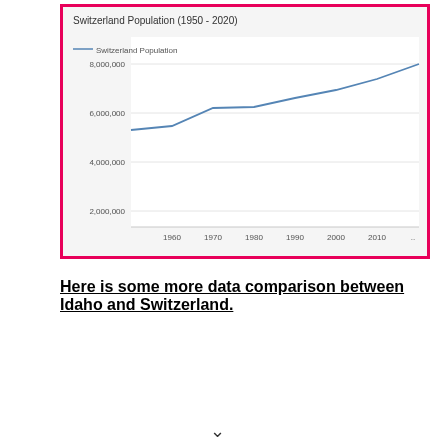[Figure (line-chart): Switzerland Population (1950 - 2020)]
Here is some more data comparison between Idaho and Switzerland.